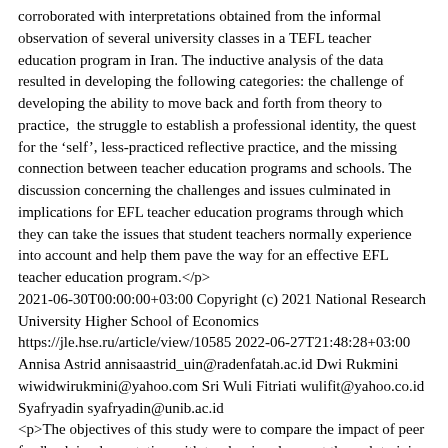corroborated with interpretations obtained from the informal observation of several university classes in a TEFL teacher education program in Iran. The inductive analysis of the data resulted in developing the following categories: the challenge of developing the ability to move back and forth from theory to practice,  the struggle to establish a professional identity, the quest for the ‘self’, less-practiced reflective practice, and the missing connection between teacher education programs and schools. The discussion concerning the challenges and issues culminated in implications for EFL teacher education programs through which they can take the issues that student teachers normally experience into account and help them pave the way for an effective EFL teacher education program.</p>
2021-06-30T00:00:00+03:00 Copyright (c) 2021 National Research University Higher School of Economics https://jle.hse.ru/article/view/10585 2022-06-27T21:48:28+03:00 Annisa Astrid annisaastrid_uin@radenfatah.ac.id Dwi Rukmini wiwidwirukmini@yahoo.com Sri Wuli Fitriati wulifit@yahoo.co.id Syafryadin syafryadin@unib.ac.id
<p>The objectives of this study were to compare the impact of peer feedback implementation with teacher involvement through training in the classroom and asynchronous online communication on the quality of students' writing revisions, as well as to investigate students' perceptions of peer feedback activities. Twenty-five students participated in the experimental study. Eleven students were willing to be interviewed. Inferential statistical